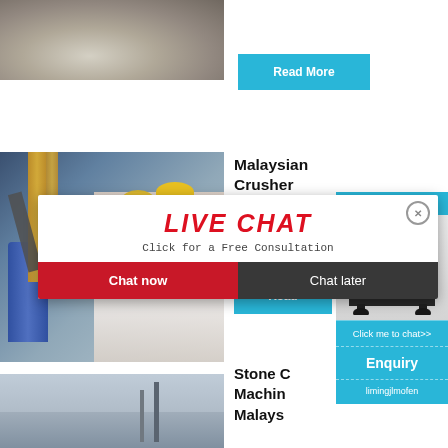[Figure (photo): Aerial/close-up view of gravel or sand material, grey/white aggregate]
Read More
[Figure (photo): Industrial plant/factory with blue silo, yellow crane scaffolding, and workers in hard hats including a smiling woman in foreground]
Malaysian Crusher
[Figure (screenshot): Live chat popup overlay with red LIVE CHAT heading, 'Click for a Free Consultation' subtitle, Chat now (red) and Chat later (dark) buttons, close X button]
[Figure (photo): Cone crusher machine illustration in right sidebar panel]
hour online
Click me to chat>>
Enquiry
limingjlmofen
Read
[Figure (photo): Industrial facility or quarry site with tower/silos against cloudy sky]
Stone C
Machin
Malays